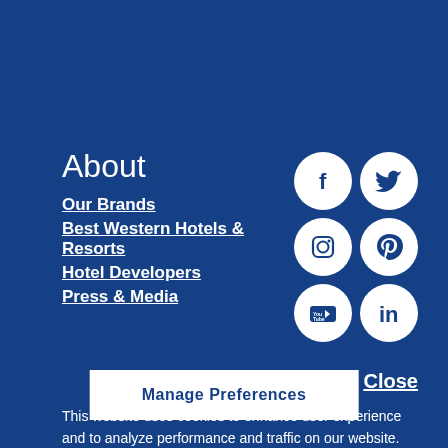About
Our Brands
Best Western Hotels & Resorts
Hotel Developers
Press & Media
[Figure (infographic): Six white circular social media icons on dark blue background: Facebook, Twitter, Instagram, Pinterest, YouTube, LinkedIn arranged in a 2x3 grid]
Close
This website uses cookies to enhance user experience and to analyze performance and traffic on our website. We also share information about your use of our site with our social media, advertising and analytics partners. To manage what data we share please select manage preferences. Privacy Policy
Manage Preferences